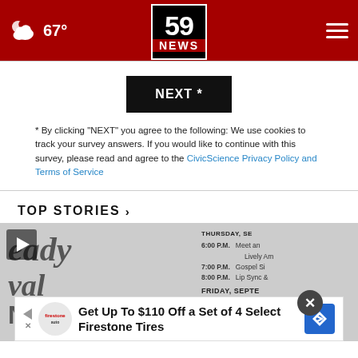59 NEWS — 67°
NEXT *
* By clicking "NEXT" you agree to the following: We use cookies to track your survey answers. If you would like to continue with this survey, please read and agree to the CivicScience Privacy Policy and Terms of Service
TOP STORIES ›
[Figure (photo): Screenshot of a news website showing a grayscale image of an event schedule/flyer with times including Thursday and Friday, with a schedule listing 6:00 P.M., 7:00 P.M., 8:00 P.M., 4:00 P.M., 5:00 P.M. entries. A play button overlay is visible in the top-left. An advertisement banner at the bottom reads 'Get Up To $110 Off a Set of 4 Select Firestone Tires' with Firestone Auto logo and a blue navigation arrow icon. A close (X) button is also visible.]